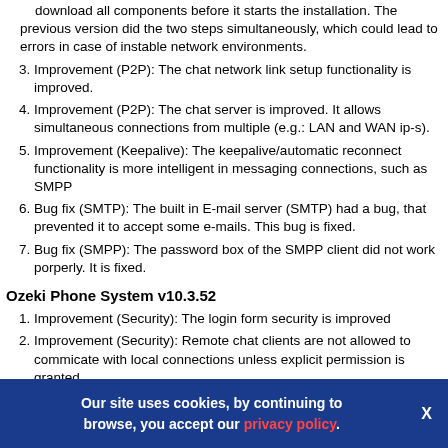download all components before it starts the installation. The previous version did the two steps simultaneously, which could lead to errors in case of instable network environments.
Improvement (P2P): The chat network link setup functionality is improved.
Improvement (P2P): The chat server is improved. It allows simultaneous connections from multiple (e.g.: LAN and WAN ip-s).
Improvement (Keepalive): The keepalive/automatic reconnect functionality is more intelligent in messaging connections, such as SMPP
Bug fix (SMTP): The built in E-mail server (SMTP) had a bug, that prevented it to accept some e-mails. This bug is fixed.
Bug fix (SMPP): The password box of the SMPP client did not work porperly. It is fixed.
Ozeki Phone System v10.3.52
Improvement (Security): The login form security is improved
Improvement (Security): Remote chat clients are not allowed to commicate with local connections unless explicit permission is granted
Improvement (Security): Chat users are only allowed to login on the local computer
Improvement (Security): Friendships are not established
enabled by default
Improvement (Ozeki account): The Ozeki Account app allows you
Our site uses cookies, by continuing to browse, you accept our privacy policy.